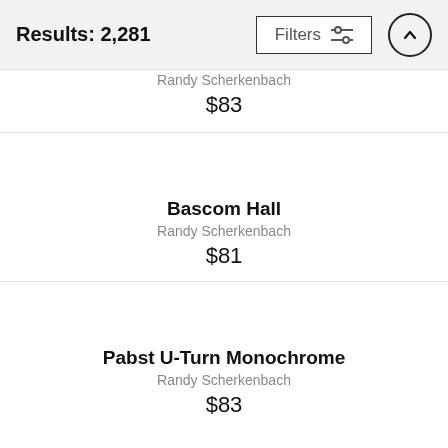Results: 2,281
Randy Scherkenbach
$83
Bascom Hall
Randy Scherkenbach
$81
Pabst U-Turn Monochrome
Randy Scherkenbach
$83